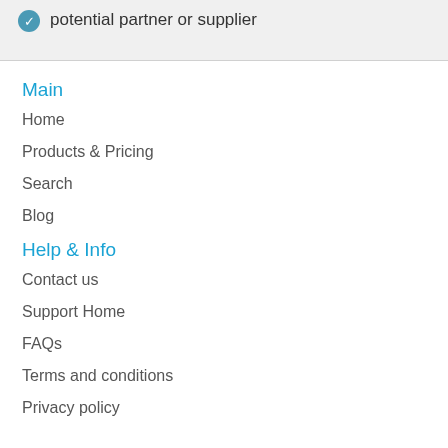potential partner or supplier
Main
Home
Products & Pricing
Search
Blog
Help & Info
Contact us
Support Home
FAQs
Terms and conditions
Privacy policy